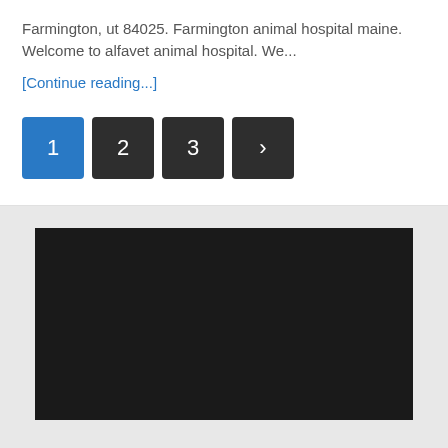Farmington, ut 84025. Farmington animal hospital maine. Welcome to alfavet animal hospital. We...
[Continue reading...]
1
2
3
›
[Figure (other): Dark/black rectangular block, likely a video embed or image placeholder]